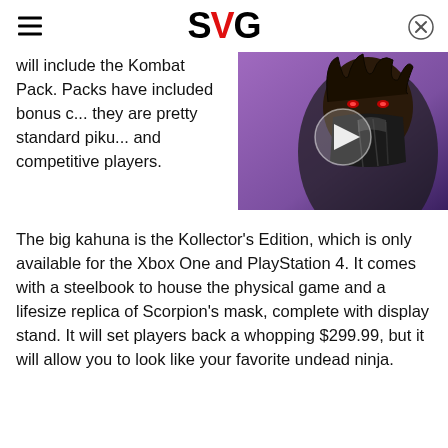SVG
will include the Kombat Pack. Packs have included bonus c... they are pretty standard piku... and competitive players.
[Figure (screenshot): Video thumbnail showing an illustrated character wearing a dark mask with glowing red eyes against a purple background, with a play button overlay.]
The big kahuna is the Kollector's Edition, which is only available for the Xbox One and PlayStation 4. It comes with a steelbook to house the physical game and a lifesize replica of Scorpion's mask, complete with display stand. It will set players back a whopping $299.99, but it will allow you to look like your favorite undead ninja.